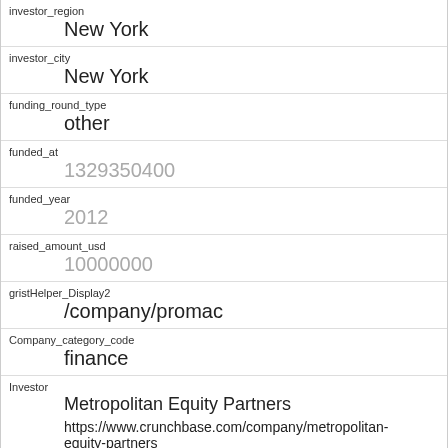| investor_region | New York |
| investor_city | New York |
| funding_round_type | other |
| funded_at | 1329350400 |
| funded_year | 2012 |
| raised_amount_usd | 10000000 |
| gristHelper_Display2 | /company/promac |
| Company_category_code | finance |
| Investor | Metropolitan Equity Partners
https://www.crunchbase.com/company/metropolitan-equity-partners |